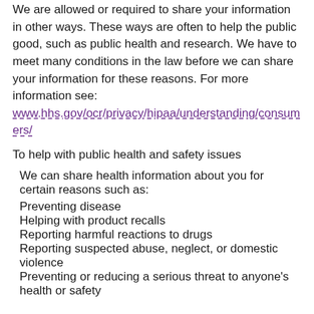We are allowed or required to share your information in other ways. These ways are often to help the public good, such as public health and research. We have to meet many conditions in the law before we can share your information for these reasons. For more information see:
www.hhs.gov/ocr/privacy/hipaa/understanding/consumers/
To help with public health and safety issues
We can share health information about you for certain reasons such as:
Preventing disease
Helping with product recalls
Reporting harmful reactions to drugs
Reporting suspected abuse, neglect, or domestic violence
Preventing or reducing a serious threat to anyone's health or safety